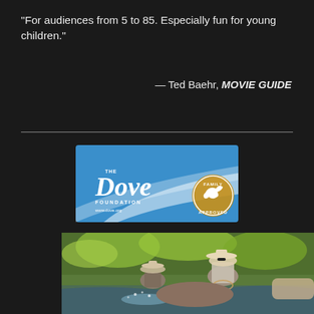"For audiences from 5 to 85. Especially fun for young children."
— Ted Baehr, MOVIE GUIDE
[Figure (logo): The Dove Foundation logo banner with blue background and Family Approved seal]
[Figure (photo): Two people wearing cowboy hats riding horses through a stream or river in a wooded area, with splashing water]